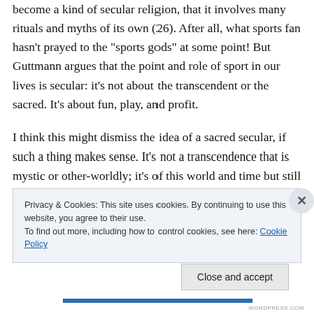become a kind of secular religion, that it involves many rituals and myths of its own (26). After all, what sports fan hasn't prayed to the "sports gods" at some point! But Guttmann argues that the point and role of sport in our lives is secular: it's not about the transcendent or the sacred. It's about fun, play, and profit.
I think this might dismiss the idea of a sacred secular, if such a thing makes sense. It's not a transcendence that is mystic or other-worldly; it's of this world and time but still sacred insofar as it is acknowledged and seen as
Privacy & Cookies: This site uses cookies. By continuing to use this website, you agree to their use.
To find out more, including how to control cookies, see here: Cookie Policy
Close and accept